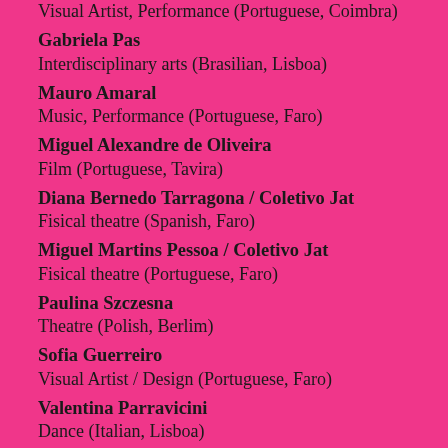Visual Artist, Performance (Portuguese, Coimbra)
Gabriela Pas
Interdisciplinary arts (Brasilian, Lisboa)
Mauro Amaral
Music, Performance (Portuguese, Faro)
Miguel Alexandre de Oliveira
Film (Portuguese, Tavira)
Diana Bernedo Tarragona / Coletivo Jat
Fisical theatre (Spanish, Faro)
Miguel Martins Pessoa / Coletivo Jat
Fisical theatre (Portuguese, Faro)
Paulina Szczesna
Theatre (Polish, Berlim)
Sofia Guerreiro
Visual Artist / Design (Portuguese, Faro)
Valentina Parravicini
Dance (Italian, Lisboa)
Each participant will present a project on the Shock